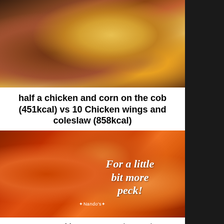[Figure (photo): Photo of half a roasted chicken with corn on the cob on a wooden board]
half a chicken and corn on the cob (451kcal) vs 10 Chicken wings and coleslaw (858kcal)
[Figure (photo): Nando's chicken wings advertisement photo with text 'For a little bit more peck!' and Nando's branding]
7 – McDonald's – It may surprise you, but McDonald's isn't a major offender when it comes to the world of nutritional crimes. Having a Cheese Burger and four McNuggets will set you back 462kcal,